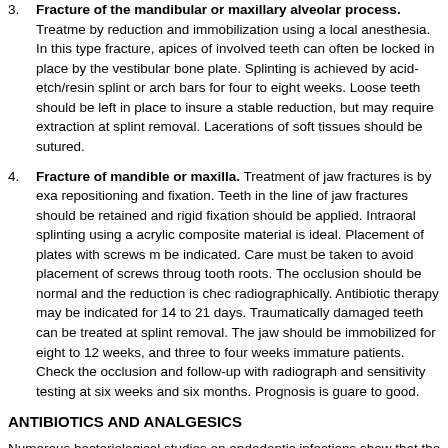3. Fracture of the mandibular or maxillary alveolar process. Treatment by reduction and immobilization using a local anesthesia. In this type fracture, apices of involved teeth can often be locked in place by the vestibular bone plate. Splinting is achieved by acid-etch/resin splint or arch bars for four to eight weeks. Loose teeth should be left in place to insure a stable reduction, but may require extraction at splint removal. Lacerations of soft tissues should be sutured.
4. Fracture of mandible or maxilla. Treatment of jaw fractures is by exact repositioning and fixation. Teeth in the line of jaw fractures should be retained and rigid fixation should be applied. Intraoral splinting using an acrylic composite material is ideal. Placement of plates with screws may be indicated. Care must be taken to avoid placement of screws through tooth roots. The occlusion should be normal and the reduction is checked radiographically. Antibiotic therapy may be indicated for 14 to 21 days. Traumatically damaged teeth can be treated at splint removal. The jaw should be immobilized for eight to 12 weeks, and three to four weeks in immature patients. Check the occlusion and follow-up with radiographs and sensitivity testing at six weeks and six months. Prognosis is guarded to good.
ANTIBIOTICS AND ANALGESICS
Numerous bacteriological studies on endodontic infections show that the predominant microorganisms are facultative and obligate anaerobes. Guidelines for use of antibiotics in veterinary endodontic patients have not been established. The rational use of antibiotics is based on several factors: the proper indications, the effectiveness of the drug against the invading organism, and the toxicity of the drug to the patient. Prophylactic antibiotic regimens are indicated for cardiac patients and patients with systemic disease conditions. Many endodontic infections respond rapidly to root canal therapy and do not require systemic medication. If the antibacterial spectrum were the only criterion, clindamycin is